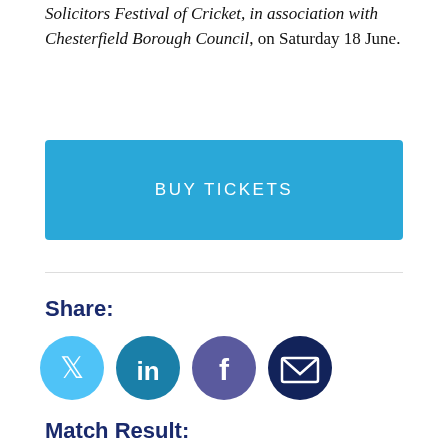Solicitors Festival of Cricket, in association with Chesterfield Borough Council, on Saturday 18 June.
[Figure (other): Blue button labeled BUY TICKETS]
Share:
[Figure (other): Social share icons: Twitter (light blue circle), LinkedIn (teal circle), Facebook (purple circle), Email (dark navy circle)]
Match Result:
[Figure (other): Match result card showing Vitality and another team logo, partially visible]